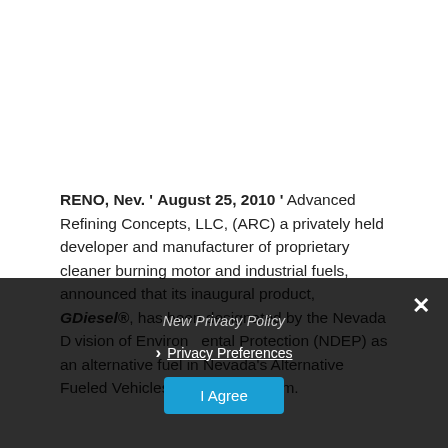RENO, Nev. ' August 25, 2010 ' Advanced Refining Concepts, LLC, (ARC) a privately held developer and manufacturer of proprietary cleaner burning motor and industrial fuels, announced that its inaugural product, GDiesel®, has been designated by the Nevada Division of Environmental Protection (NDEP) as an alternative fuel in Nevada's Alternative Fueled Vehicles in Fleets program.
New Privacy Policy
Privacy Preferences
I Agree